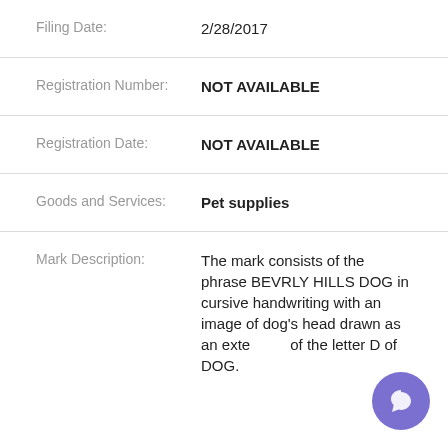Filing Date: 2/28/2017
Registration Number: NOT AVAILABLE
Registration Date: NOT AVAILABLE
Goods and Services: Pet supplies
Mark Description: The mark consists of the phrase BEVRLY HILLS DOG in cursive handwriting with an image of dog's head drawn as an extension of the letter D of DOG.